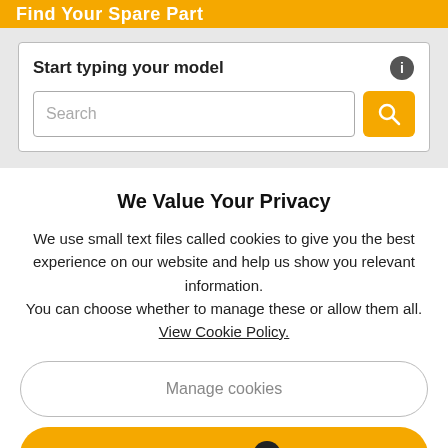Find Your Spare Part
Start typing your model
Search
We Value Your Privacy
We use small text files called cookies to give you the best experience on our website and help us show you relevant information.
You can choose whether to manage these or allow them all.
View Cookie Policy.
Manage cookies
Allow All